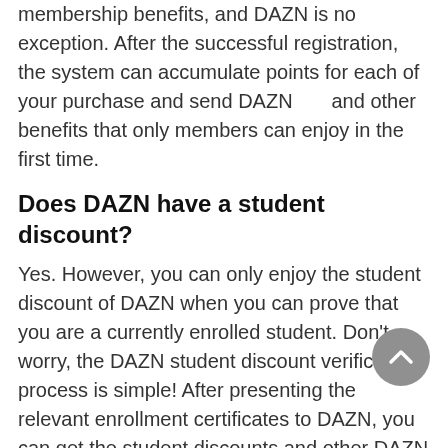membership benefits, and DAZN is no exception. After the successful registration, the system can accumulate points for each of your purchase and send DAZN and other benefits that only members can enjoy in the first time.
Does DAZN have a student discount?
Yes. However, you can only enjoy the student discount of DAZN when you can prove that you are a currently enrolled student. Don't worry, the DAZN student discount verification process is simple! After presenting the relevant enrollment certificates to DAZN, you can get the student discounts and other DAZN
How long do DAZN       last?
In the coupon details page on dazn.com, DAZN will display the validity period and usage rules of the corresponding      . It is suggested that